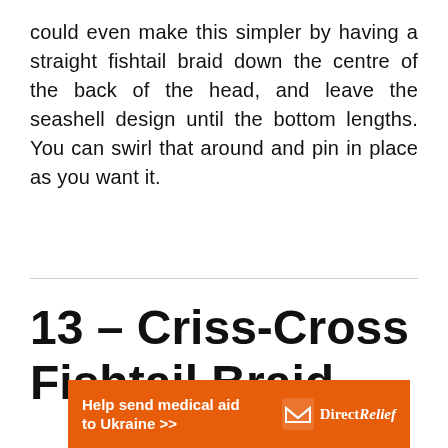could even make this simpler by having a straight fishtail braid down the centre of the back of the head, and leave the seashell design until the bottom lengths. You can swirl that around and pin in place as you want it.
13 – Criss-Cross Fishtail Braid
[Figure (other): Orange advertisement banner for Direct Relief: 'Help send medical aid to Ukraine >>' with Direct Relief logo (envelope icon) and text on right.]